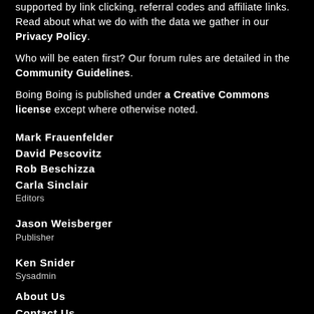supported by link clicking, referral codes and affiliate links. Read about what we do with the data we gather in our Privacy Policy.
Who will be eaten first? Our forum rules are detailed in the Community Guidelines.
Boing Boing is published under a Creative Commons license except where otherwise noted.
Mark Frauenfelder
David Pescovitz
Rob Beschizza
Carla Sinclair
Editors
Jason Weisberger
Publisher
Ken Snider
Sysadmin
About Us
Contact Us
Advertise